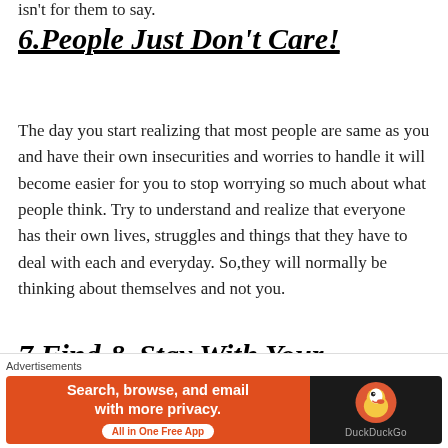isn't for them to say.
6.People Just Don't Care!
The day you start realizing that most people are same as you and have their own insecurities and worries to handle it will become easier for you to stop worrying so much about what people think. Try to understand and realize that everyone has their own lives, struggles and things that they have to deal with each and everyday. So,they will normally be thinking about themselves and not you.
7.Find & Stay With Your
[Figure (infographic): DuckDuckGo advertisement banner: orange left section with text 'Search, browse, and email with more privacy. All in One Free App', dark right section with DuckDuckGo logo and name.]